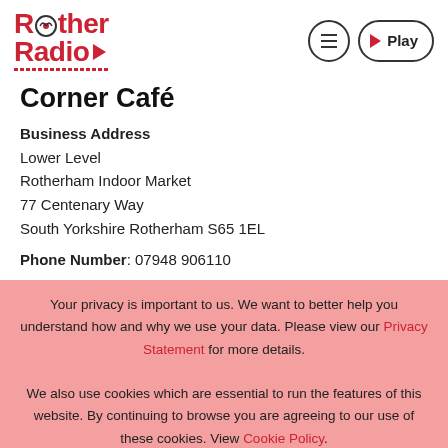Rother Radio — header with logo and navigation controls
Corner Café
Business Address
Lower Level
Rotherham Indoor Market
77 Centenary Way
South Yorkshire Rotherham S65 1EL

Phone Number: 07948 906110
Your privacy is important to us. We want to better help you understand how and why we use your data. Please view our Privacy Statement for more details.

We also use cookies which are essential to run the features of this website. By continuing to browse you are agreeing to our use of these cookies. View Cookie Policy.
Accept